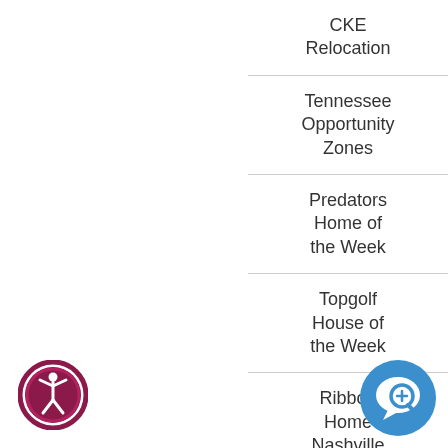CKE Relocation
Tennessee Opportunity Zones
Predators Home of the Week
Topgolf House of the Week
Ribbon Home Nashville
Zillow Instant
[Figure (illustration): Accessibility icon: circular dark pink/maroon border with white human figure symbol in center]
[Figure (illustration): Chat/support icon: blue circle with white speech bubble and magnifying glass symbol]